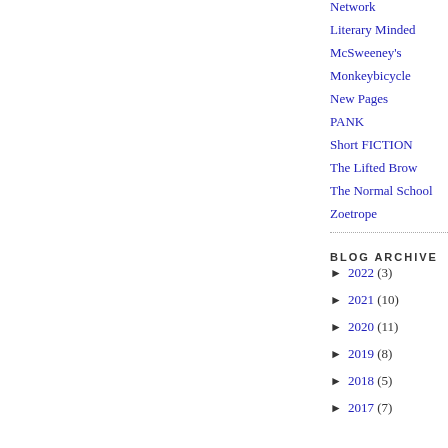Network
Literary Minded
McSweeney's
Monkeybicycle
New Pages
PANK
Short FICTION
The Lifted Brow
The Normal School
Zoetrope
BLOG ARCHIVE
► 2022 (3)
► 2021 (10)
► 2020 (11)
► 2019 (8)
► 2018 (5)
► 2017 (7)